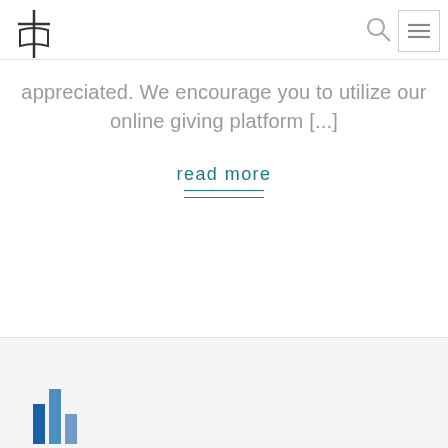[Figure (logo): Church/ministry logo: cross with open book symbol, dark outline style]
[Figure (other): Search icon (magnifying glass) in gray]
[Figure (other): Hamburger menu icon inside a square border]
appreciated. We encourage you to utilize our online giving platform [...]
read more
[Figure (logo): Partial blue bar chart / logo visible at bottom left of footer area]